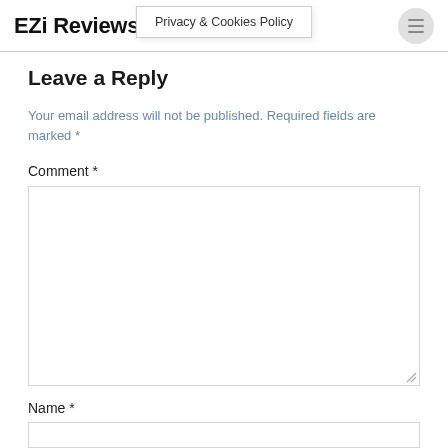EZi Reviews | Privacy & Cookies Policy
Leave a Reply
Your email address will not be published. Required fields are marked *
Comment *
Name *